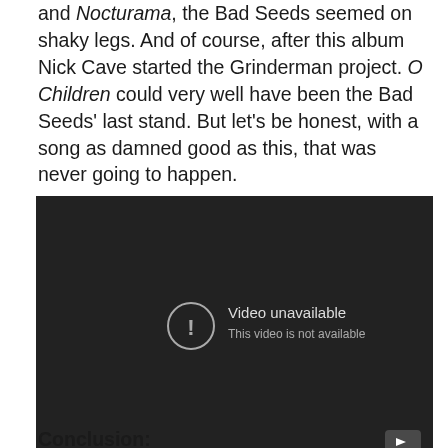and Nocturama, the Bad Seeds seemed on shaky legs. And of course, after this album Nick Cave started the Grinderman project. O Children could very well have been the Bad Seeds' last stand. But let's be honest, with a song as damned good as this, that was never going to happen.
[Figure (screenshot): Embedded YouTube video player showing 'Video unavailable — This video is not available' error message on a dark background, with a YouTube icon button in the bottom-right corner.]
Conclusion: